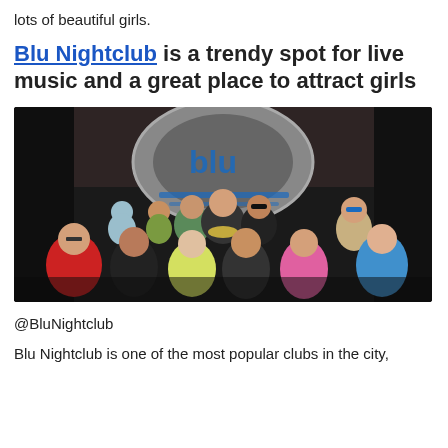lots of beautiful girls.
Blu Nightclub is a trendy spot for live music and a great place to attract girls
[Figure (photo): Group photo of approximately 12 people posing together inside Blu Nightclub, with a large decorative metallic Blu logo/sign visible in the background. Mix of men and women, some with accessories, dark club interior.]
@BluNightclub
Blu Nightclub is one of the most popular clubs in the city,